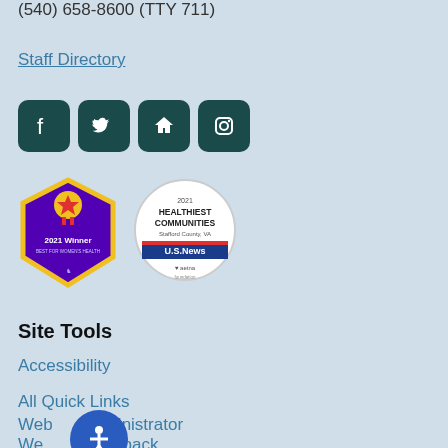(540) 658-8600 (TTY 711)
Staff Directory
[Figure (other): Social media icons: Facebook, Twitter, Nextdoor, Instagram on dark teal rounded square backgrounds]
[Figure (other): Two award badges: purple hexagon '2021 Winner Best for Women's Health' and circular US News 2021 Healthiest Communities Stafford County VA badge with Aetna sponsor]
Site Tools
Accessibility
All Quick Links
Webmaster Administrator
Website Feedback